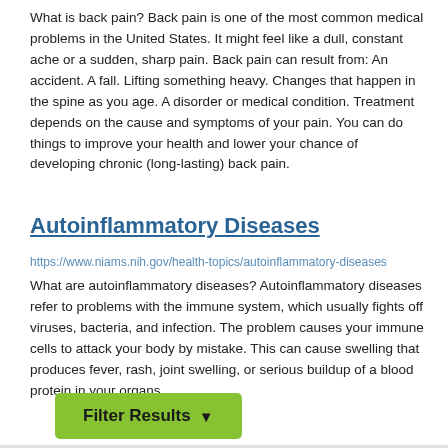What is back pain? Back pain is one of the most common medical problems in the United States. It might feel like a dull, constant ache or a sudden, sharp pain. Back pain can result from: An accident. A fall. Lifting something heavy. Changes that happen in the spine as you age. A disorder or medical condition. Treatment depends on the cause and symptoms of your pain. You can do things to improve your health and lower your chance of developing chronic (long-lasting) back pain.
Autoinflammatory Diseases
https://www.niams.nih.gov/health-topics/autoinflammatory-diseases
What are autoinflammatory diseases? Autoinflammatory diseases refer to problems with the immune system, which usually fights off viruses, bacteria, and infection. The problem causes your immune cells to attack your body by mistake. This can cause swelling that produces fever, rash, joint swelling, or serious buildup of a blood protein in your organs.
Filter Results